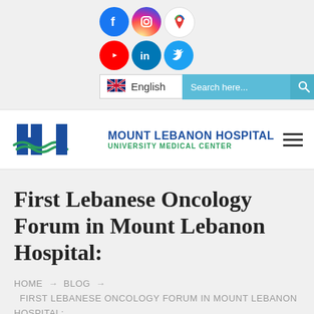[Figure (logo): Social media icons: Facebook, Instagram, Google Maps (top row), YouTube, LinkedIn, Twitter (bottom row)]
[Figure (other): Language selector showing UK flag and 'English' with dropdown chevron]
[Figure (other): Search bar 'Search here...' with search icon button on light blue background]
[Figure (logo): Mount Lebanon Hospital University Medical Center logo with H-shaped blue icon and green wave, plus hamburger menu icon]
First Lebanese Oncology Forum in Mount Lebanon Hospital:
HOME → BLOG → FIRST LEBANESE ONCOLOGY FORUM IN MOUNT LEBANON HOSPITAL: